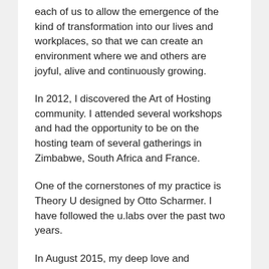each of us to allow the emergence of the kind of transformation into our lives and workplaces, so that we can create an environment where we and others are joyful, alive and continuously growing.
In 2012, I discovered the Art of Hosting community. I attended several workshops and had the opportunity to be on the hosting team of several gatherings in Zimbabwe, South Africa and France.
One of the cornerstones of my practice is Theory U designed by Otto Scharmer. I have followed the u.labs over the past two years.
In August 2015, my deep love and appreciation for the physical body gave rise to the idea to create a Body Tarot card deck to inspire others on their journey with their body.